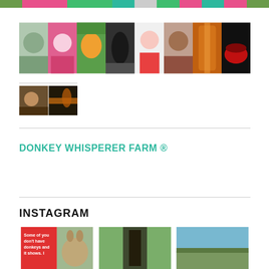[Figure (photo): Top colorful banner strip with avatar icons, arrows, and badges in green, pink, and teal colors]
[Figure (photo): Horizontal strip of 8 portrait/nature photos: elderly woman, smiling woman with glasses, colorful bird, dark horse, woman in red, Indian woman, orange archway, red lips closeup]
[Figure (photo): Two small photos: child on horse and silhouette at sunset]
DONKEY WHISPERER FARM ®
INSTAGRAM
[Figure (photo): Three Instagram photos: red card with text 'Some of you don't have donkeys and it shows. I', donkey face close-up, open barn door view, green field with trees and blue sky]